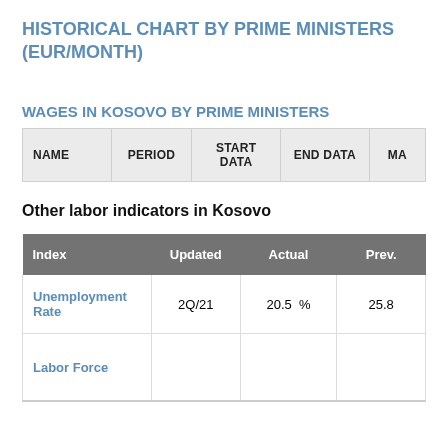HISTORICAL CHART BY PRIME MINISTERS (EUR/MONTH)
WAGES IN KOSOVO BY PRIME MINISTERS
| NAME | PERIOD | START DATA | END DATA | MA... |
| --- | --- | --- | --- | --- |
Other labor indicators in Kosovo
| Index | Updated | Actual | Prev. |
| --- | --- | --- | --- |
| Unemployment Rate | 2Q/21 | 20.5  % | 25.8 |
| Labor Force |  |  |  |